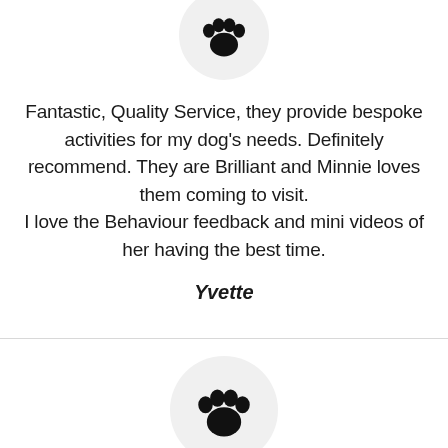[Figure (illustration): Paw print icon inside a light grey circle, partially visible at top of page]
Fantastic, Quality Service, they provide bespoke activities for my dog's needs. Definitely recommend. They are Brilliant and Minnie loves them coming to visit.
I love the Behaviour feedback and mini videos of her having the best time.
Yvette
[Figure (illustration): Paw print icon inside a light grey circle at bottom of page]